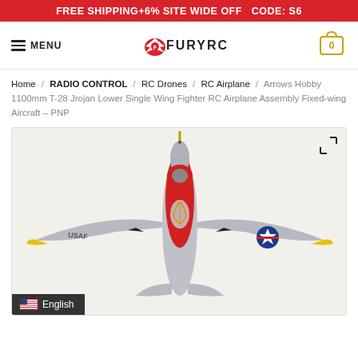FREE SHIPPING+6% SITE WIDE OFF  CODE: S6
[Figure (logo): FuryRC website navigation bar with hamburger menu icon, MENU text, FuryRC logo in center, and shopping cart icon (0 items) on right]
Home / RADIO CONTROL / RC Drones / RC Airplane / Arrows Hobby 1100mm T-28 Jrojan Lower Single Wing Fighter RC Airplane Assembly Fixed-wing Aircraft – PNP
[Figure (photo): Top-down view of Arrows Hobby T-28 Trojan RC airplane model in silver, red, and yellow color scheme with USAF star markings, seen from above showing wings and cockpit]